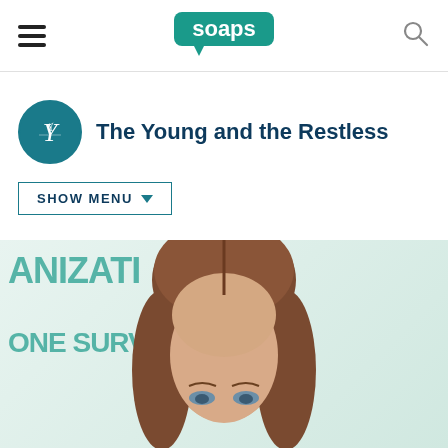soaps
The Young and the Restless
SHOW MENU
[Figure (photo): A woman with long brown hair and blue eyes at an event with a teal and white backdrop showing partial text 'ANIZATI' and 'ONE SURV']